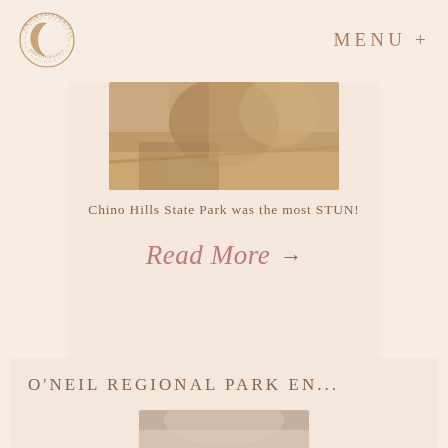[Figure (logo): Circular logo with crescent moon and text around the edge, photography studio brand mark]
MENU +
[Figure (photo): Close-up photo of a couple or person in a field with golden dried grass, warm tones, blurred background]
Chino Hills State Park was the most STUN!
Read More →
O'NEIL REGIONAL PARK EN...
[Figure (photo): Partial photo at bottom of page, appears to show a person outdoors]